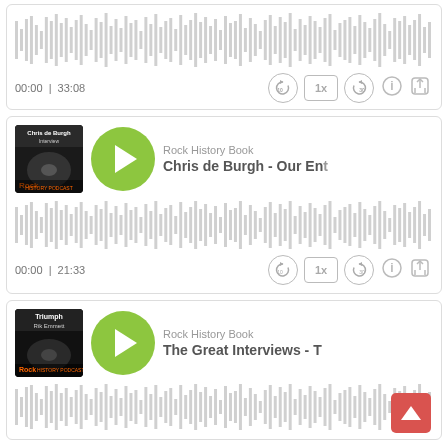[Figure (other): Audio player card partial view at top: waveform visualization and playback controls showing 00:00 | 33:08 with rewind 10, speed 1x, forward 30, info and share icons]
[Figure (other): Audio player card for 'Chris de Burgh - Our En...' from Rock History Book podcast with album art, green play button, waveform, and controls showing 00:00 | 21:33]
[Figure (other): Audio player card for 'The Great Interviews - T...' from Rock History Book podcast with Triumph/Rik Emmett album art, green play button, partial waveform visible, back-to-top red button]